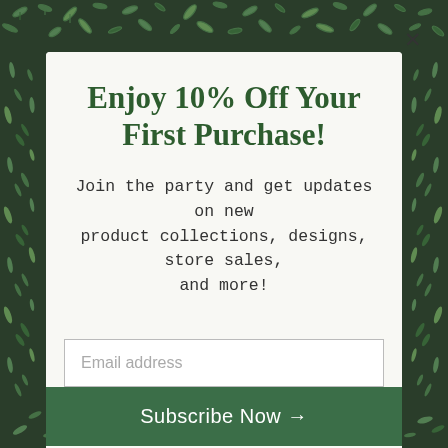[Figure (illustration): Botanical leaf/fern decorative border pattern in green and white surrounding a modal popup dialog]
Enjoy 10% Off Your First Purchase!
Join the party and get updates on new product collections, designs, store sales, and more!
Email address
Subscribe Now →